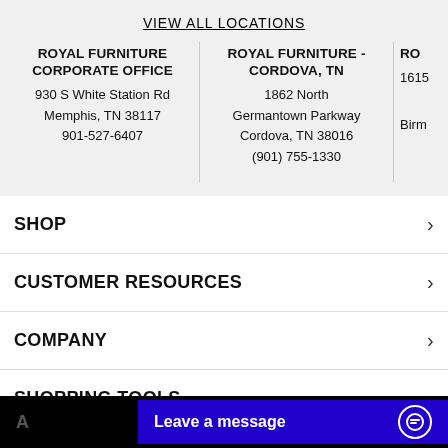VIEW ALL LOCATIONS
ROYAL FURNITURE CORPORATE OFFICE
930 S White Station Rd
Memphis, TN 38117
901-527-6407
ROYAL FURNITURE - CORDOVA, TN
1862 North Germantown Parkway
Cordova, TN 38016
(901) 755-1330
RO
1615
Birm
SHOP
CUSTOMER RESOURCES
COMPANY
SHOPPING TOOLS
Leave a message